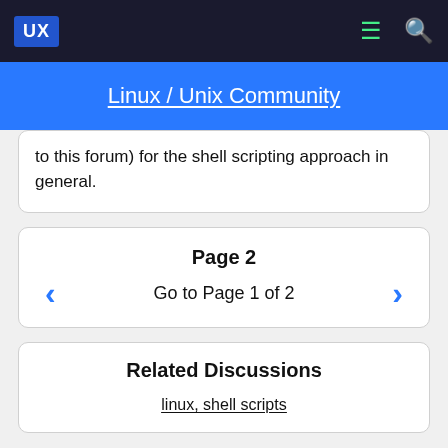UX  [menu icon]  [search icon]
Linux / Unix Community
to this forum) for the shell scripting approach in general.
Page 2
Go to Page 1 of 2
Related Discussions
linux, shell scripts